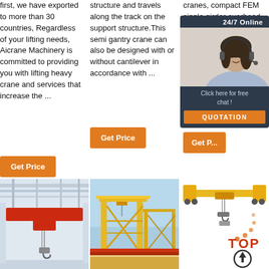first, we have exported to more than 30 countries, Regardless of your lifting needs, Aicrane Machinery is committed to providing you with lifting heavy crane and services that increase the ...
structure and travels along the track on the support structure.This semi gantry crane can also be designed with or without cantilever in accordance with ...
cranes, compact FEM single girder overhead crane design, small & light overhead single girder overhead crane.G... overhead crane 1...
Get Price
Get Price
Get Price
[Figure (infographic): 24/7 online chat widget showing a female customer service representative with headset, dark background, 'Click here for free chat!' text and an orange QUOTATION button]
[Figure (photo): Photo of a red overhead crane inside an industrial building]
[Figure (photo): Photo of large yellow gantry cranes at an outdoor port or construction site]
[Figure (illustration): Diagram of a single girder overhead crane in yellow with hoist, showing a TOP scroll-to-top indicator with orange dots]